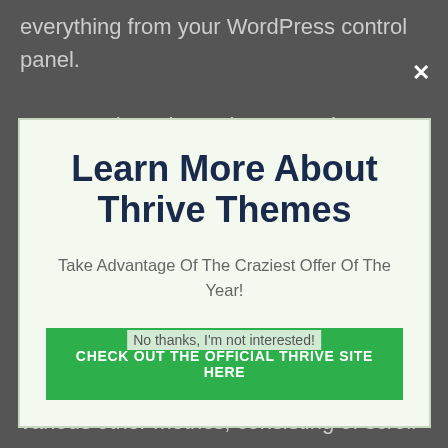everything from your WordPress control panel.
You can show the reviews anywhere on your
Learn More About Thrive Themes
Take Advantage Of The Craziest Offer Of The Year!
CHECK OUT THE OFFICIAL THRIVE SITE HERE
No thanks, I'm not interested!
the click through price for your own internet site web pages. This additionally assists to increase various other metrics, consisting of scroll